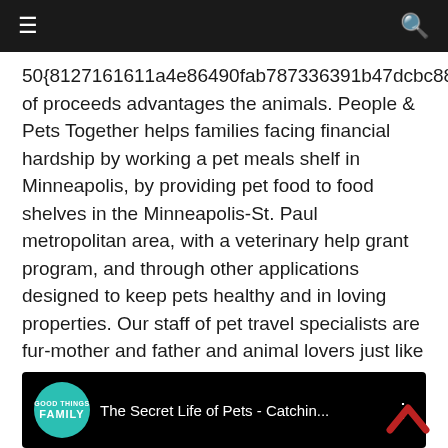Navigation bar with hamburger menu and search icon
50{8127161611a4e86490fab787336391b47dcbc88c9ecc0e4c51636477cee8d8cb} of proceeds advantages the animals. People & Pets Together helps families facing financial hardship by working a pet meals shelf in Minneapolis, by providing pet food to food shelves in the Minneapolis-St. Paul metropolitan area, with a veterinary help grant program, and through other applications designed to keep pets healthy and in loving properties. Our staff of pet travel specialists are fur-mother and father and animal lovers just like you!
[Figure (screenshot): YouTube video thumbnail showing 'The Secret Life of Pets - Catchin...' from FAMILY channel on a black background]